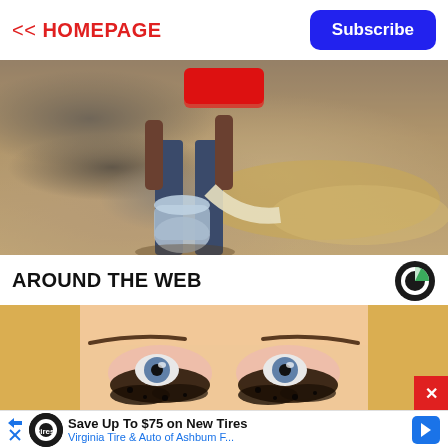<< HOMEPAGE
Subscribe
[Figure (photo): Person shoveling or filling grain/sand at ground level, with a large water jug visible, outdoors. A red play button overlay is visible at the top center.]
AROUND THE WEB
[Figure (logo): Circular logo with green and black segments (Connatix or similar content recommendation network logo)]
[Figure (photo): Close-up of a blonde woman's eyes with dark mascara smeared heavily under both eyes, wearing a white headband.]
Save Up To $75 on New Tires Virginia Tire & Auto of Ashbum F...